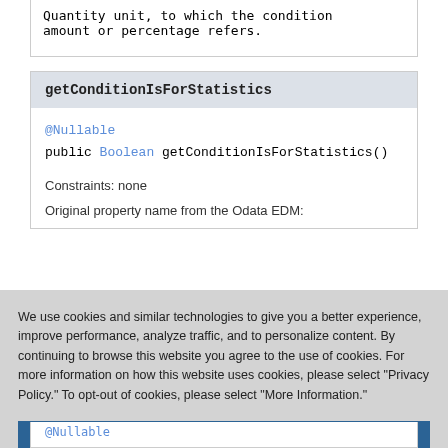Quantity unit, to which the condition amount or percentage refers.
getConditionIsForStatistics
@Nullable
public Boolean getConditionIsForStatistics()
Constraints: none
Original property name from the Odata EDM:
We use cookies and similar technologies to give you a better experience, improve performance, analyze traffic, and to personalize content. By continuing to browse this website you agree to the use of cookies. For more information on how this website uses cookies, please select "Privacy Policy." To opt-out of cookies, please select "More Information."
Accept Cookies
More Information
Privacy Policy | Powered by: TrustArc
@Nullable